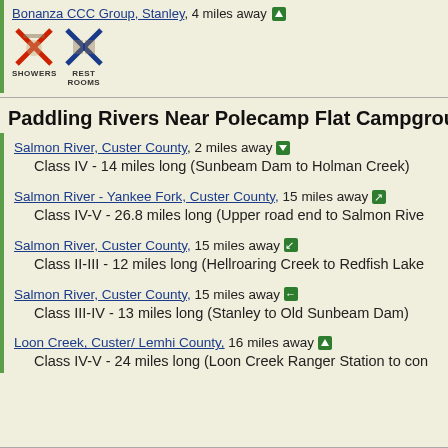Bonanza CCC Group, Stanley, 4 miles away
[Figure (infographic): Two icon images with X marks: SHOWERS and REST ROOMS]
Paddling Rivers Near Polecamp Flat Campground, S
Salmon River, Custer County, 2 miles away
Class IV - 14 miles long (Sunbeam Dam to Holman Creek)
Salmon River - Yankee Fork, Custer County, 15 miles away
Class IV-V - 26.8 miles long (Upper road end to Salmon Rive
Salmon River, Custer County, 15 miles away
Class II-III - 12 miles long (Hellroaring Creek to Redfish Lake
Salmon River, Custer County, 15 miles away
Class III-IV - 13 miles long (Stanley to Old Sunbeam Dam)
Loon Creek, Custer/ Lemhi County, 16 miles away
Class IV-V - 24 miles long (Loon Creek Ranger Station to con